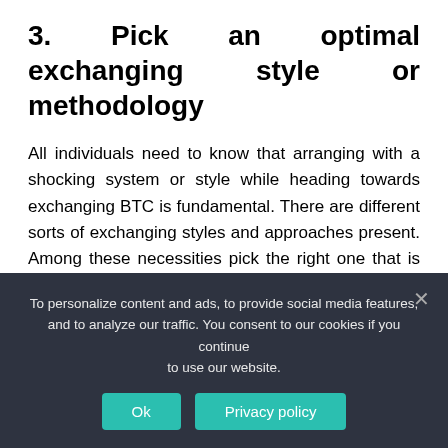3.  Pick an optimal exchanging style or methodology
All individuals need to know that arranging with a shocking system or style while heading towards exchanging BTC is fundamental. There are different sorts of exchanging styles and approaches present. Among these necessities pick the right one that is more helpful for you.
4. Select a shielded wallet
To personalize content and ads, to provide social media features, and to analyze our traffic. You consent to our cookies if you continue to use our website.